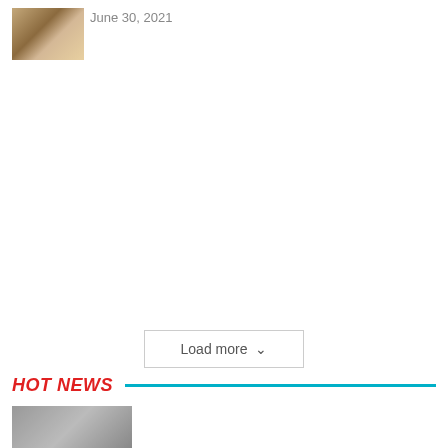[Figure (photo): Small thumbnail photo of a person in traditional dress]
June 30, 2021
Load more
HOT NEWS
[Figure (photo): Thumbnail image at bottom of page]